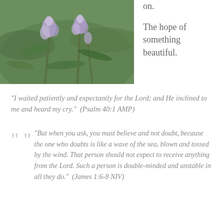[Figure (photo): Close-up photo of lavender flowers with blurred green background]
on.

The hope of something beautiful.
“I waited patiently and expectantly for the Lord; and He inclined to me and heard my cry.”  (Psalm 40:1 AMP)
“But when you ask, you must believe and not doubt, because the one who doubts is like a wave of the sea, blown and tossed by the wind. That person should not expect to receive anything from the Lord. Such a person is double-minded and unstable in all they do.”  (James 1:6-8 NIV)